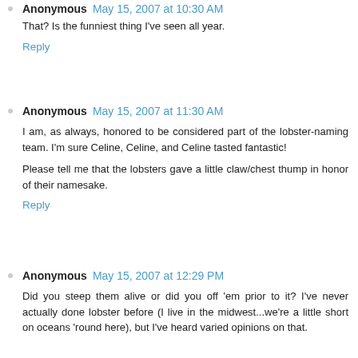Anonymous May 15, 2007 at 10:30 AM
That? Is the funniest thing I've seen all year.
Reply
Anonymous May 15, 2007 at 11:30 AM
I am, as always, honored to be considered part of the lobster-naming team. I'm sure Celine, Celine, and Celine tasted fantastic!
Please tell me that the lobsters gave a little claw/chest thump in honor of their namesake.
Reply
Anonymous May 15, 2007 at 12:29 PM
Did you steep them alive or did you off 'em prior to it? I've never actually done lobster before (I live in the midwest...we're a little short on oceans 'round here), but I've heard varied opinions on that.